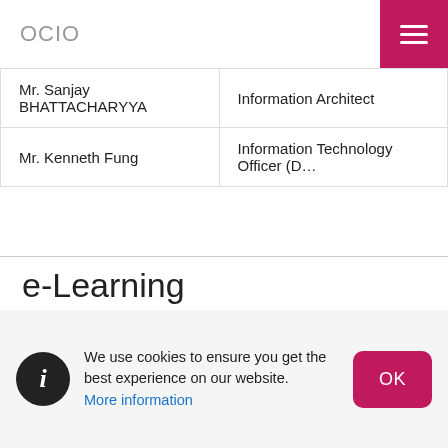OCIO
| Mr. Sanjay BHATTACHARYYA | Information Architect |
| Mr. Kenneth Fung | Information Technology Officer (D…) |
e-Learning
The e-Learning Team oversees technological support in online teaching and learning within City University of Hong Kong. In addition, the team provides consultations and services on the use of information technology to advance the University's academic
We use cookies to ensure you get the best experience on our website. More information